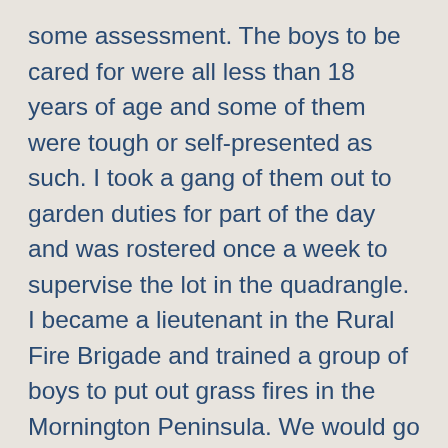some assessment. The boys to be cared for were all less than 18 years of age and some of them were tough or self-presented as such. I took a gang of them out to garden duties for part of the day and was rostered once a week to supervise the lot in the quadrangle. I became a lieutenant in the Rural Fire Brigade and trained a group of boys to put out grass fires in the Mornington Peninsula. We would go out in the fire engine, a tanker of that era, difficult to drive without power steering and took quite a while to brake being so heavy on roads . Nevertheless we did some practice lighting